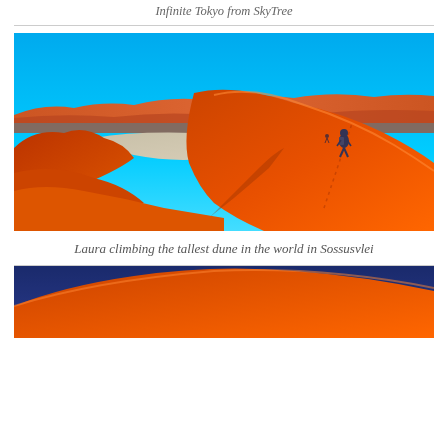Infinite Tokyo from SkyTree
[Figure (photo): Aerial/wide view of Sossusvlei red sand dunes in Namibia under a vivid blue sky, with a person climbing the tallest dune in the foreground right, footprints visible in the sand, and a dry white clay pan visible in the background.]
Laura climbing the tallest dune in the world in Sossusvlei
[Figure (photo): Partial view of another Sossusvlei scene — close-up diagonal of orange-red sand dune with a dark blue sky in the upper portion, cropped at page bottom.]